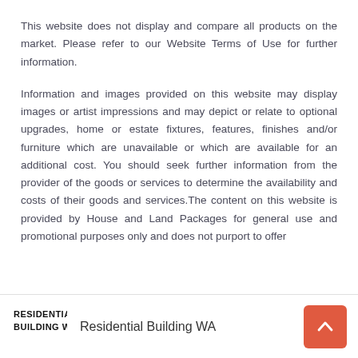This website does not display and compare all products on the market. Please refer to our Website Terms of Use for further information.
Information and images provided on this website may display images or artist impressions and may depict or relate to optional upgrades, home or estate fixtures, features, finishes and/or furniture which are unavailable or which are available for an additional cost. You should seek further information from the provider of the goods or services to determine the availability and costs of their goods and services.The content on this website is provided by House and Land Packages for general use and promotional purposes only and does not purport to offer
Residential Building WA